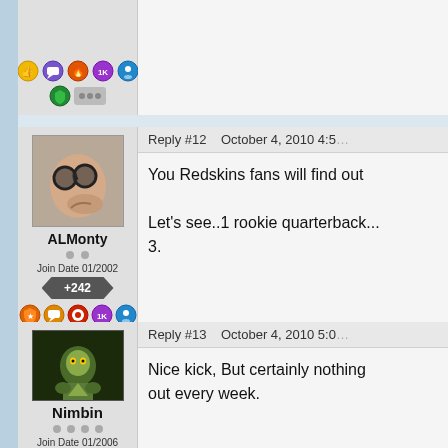[Figure (screenshot): Top partial forum post showing user badges row at bottom of user panel]
Reply #12    October 4, 2010 4:5...
ALMonty
Join Date 01/2002
+242
You Redskins fans will find out
Let's see..1 rookie quarterback... 3.
Reply #13    October 4, 2010 5:0...
Nimbin
Join Date 01/2006
Nice kick, But certainly nothing... out every week.